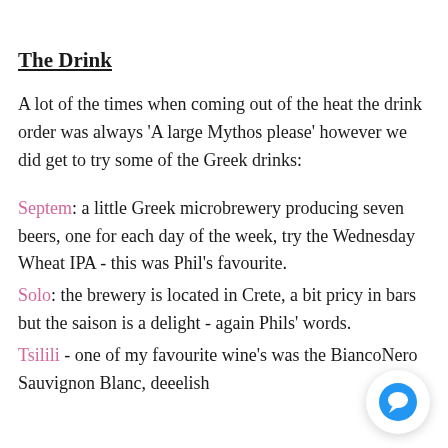The Drink
A lot of the times when coming out of the heat the drink order was always 'A large Mythos please' however we did get to try some of the Greek drinks:
Septem: a little Greek microbrewery producing seven beers, one for each day of the week, try the Wednesday Wheat IPA - this was Phil's favourite.
Solo: the brewery is located in Crete, a bit pricy in bars but the saison is a delight - again Phils' words.
Tsilili - one of my favourite wine's was the BiancoNero Sauvignon Blanc, deeelish